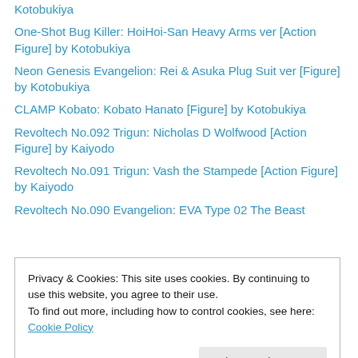Kotobukiya
One-Shot Bug Killer: HoiHoi-San Heavy Arms ver [Action Figure] by Kotobukiya
Neon Genesis Evangelion: Rei & Asuka Plug Suit ver [Figure] by Kotobukiya
CLAMP Kobato: Kobato Hanato [Figure] by Kotobukiya
Revoltech No.092 Trigun: Nicholas D Wolfwood [Action Figure] by Kaiyodo
Revoltech No.091 Trigun: Vash the Stampede [Action Figure] by Kaiyodo
Revoltech No.090 Evangelion: EVA Type 02 The Beast
Privacy & Cookies: This site uses cookies. By continuing to use this website, you agree to their use.
To find out more, including how to control cookies, see here: Cookie Policy
Lanster Barrier Jacket ver [Action Figure] by Max Factory